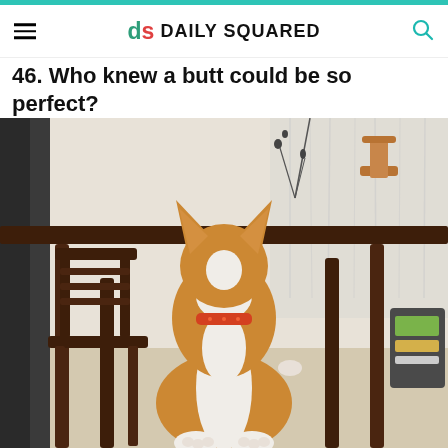Daily Squared
46. Who knew a butt could be so perfect?
[Figure (photo): A corgi dog seen from behind, sitting and looking toward a dining table. The dog has orange and white fur, pointy ears, and wears an orange bandana around its neck. The setting is an indoor dining area with dark wooden chairs and table, and curtains in the background.]